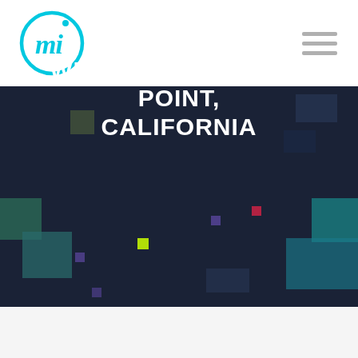[Figure (logo): Circular cyan/blue logo with stylized 'mi' cursive text inside a circle outline]
WEB DESIGN - DANA POINT, CALIFORNIA
Home → Web Design